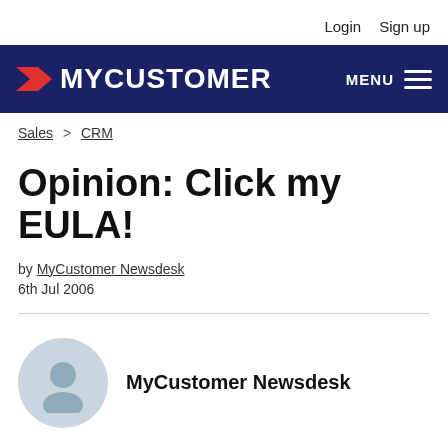Login   Sign up
[Figure (logo): MyCustomer website navigation bar with red arrow logo, MYCUSTOMER brand name in white on navy background, and MENU hamburger icon on right]
Sales > CRM
Opinion: Click my EULA!
by MyCustomer Newsdesk
6th Jul 2006
[Figure (illustration): Generic user avatar silhouette icon in a light blue-grey circle]
MyCustomer Newsdesk